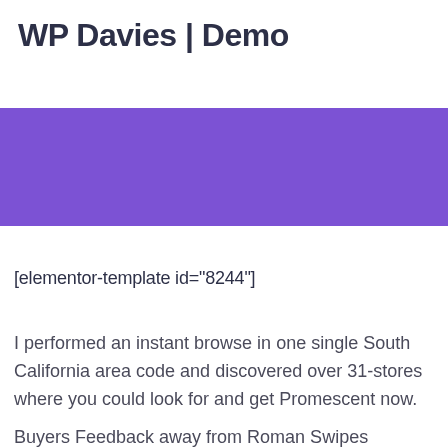WP Davies | Demo
[Figure (other): Purple horizontal banner bar]
[elementor-template id="8244"]
I performed an instant browse in one single South California area code and discovered over 31-stores where you could look for and get Promescent now.
Buyers Feedback away from Roman Swipes